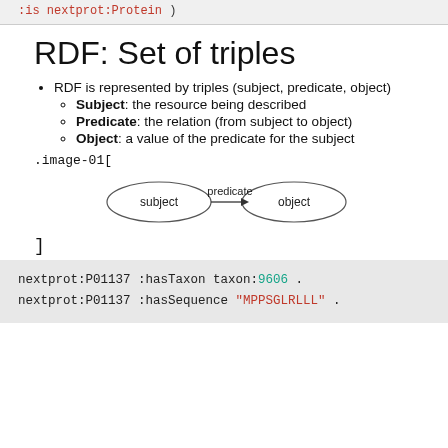:is nextprot:Protein )
RDF: Set of triples
RDF is represented by triples (subject, predicate, object)
Subject: the resource being described
Predicate: the relation (from subject to object)
Object: a value of the predicate for the subject
.image-01[
[Figure (diagram): RDF triple diagram showing two ovals labeled 'subject' and 'object' connected by an arrow labeled 'predicate']
]
nextprot:P01137 :hasTaxon taxon:9606 .
nextprot:P01137 :hasSequence "MPPSGLRLLL" .